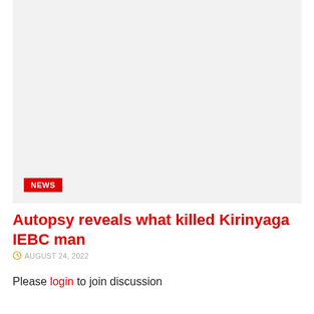[Figure (photo): Light gray placeholder image area with a NEWS badge in red at bottom-left]
Autopsy reveals what killed Kirinyaga IEBC man
AUGUST 24, 2022
Please login to join discussion